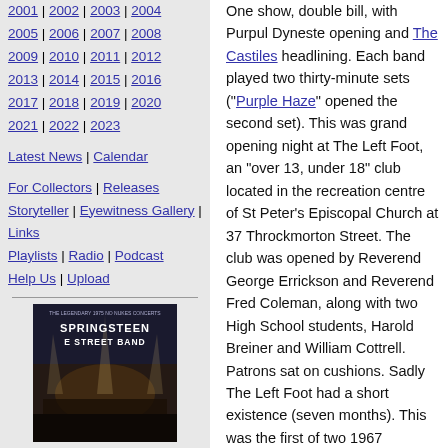2001 | 2002 | 2003 | 2004
2005 | 2006 | 2007 | 2008
2009 | 2010 | 2011 | 2012
2013 | 2014 | 2015 | 2016
2017 | 2018 | 2019 | 2020
2021 | 2022 | 2023
Latest News | Calendar
For Collectors | Releases
Storyteller | Eyewitness Gallery | Links
Playlists | Radio | Podcast
Help Us | Upload
[Figure (photo): Advertisement for Springsteen E Street Band legendary 1975 No Nukes concerts, showing concert stage photo with text overlay]
Help us
[Figure (other): PayPal Donate button]
Thank You
One show, double bill, with Purpul Dyneste opening and The Castiles headlining. Each band played two thirty-minute sets ("Purple Haze" opened the second set). This was grand opening night at The Left Foot, an "over 13, under 18" club located in the recreation centre of St Peter's Episcopal Church at 37 Throckmorton Street. The club was opened by Reverend George Errickson and Reverend Fred Coleman, along with two High School students, Harold Breiner and William Cottrell. Patrons sat on cushions. Sadly The Left Foot had a short existence (seven months). This was the first of two 1967 appearances by The Castiles at the club - fortunately both